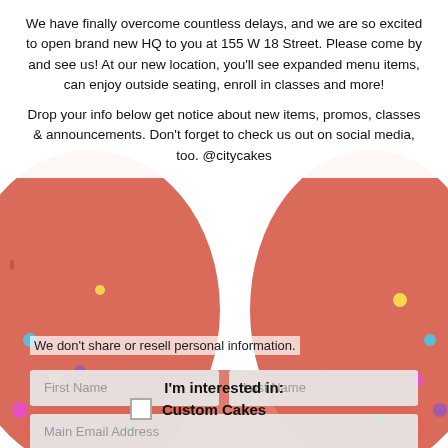We have finally overcome countless delays, and we are so excited to open brand new HQ to you at 155 W 18 Street. Please come by and see us! At our new location, you'll see expanded menu items, can enjoy outside seating, enroll in classes and more!
Drop your info below get notice about new items, promos, classes & announcements. Don't forget to check us out on social media, too. @citycakes
[Figure (photo): Background photo of red/pink cookies with colorful sprinkles, partially visible on left and right sides of the page]
We don't share or resell personal information.
First Name | Last Name (form fields)
Main Email Address (form field)
Zip Code | Birthday (form fields)
I'm interested in:
Custom Cakes